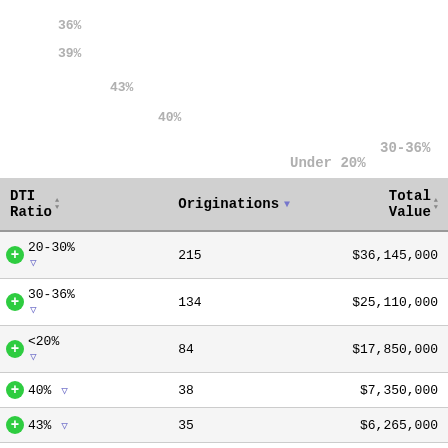[Figure (other): Partial pie/donut chart visible at top of page showing DTI ratio percentage labels: 36%, 39%, 43%, 40%, 30-36%, Under 20%]
| DTI Ratio | Originations | Total Value |
| --- | --- | --- |
| 20-30% | 215 | $36,145,000 |
| 30-36% | 134 | $25,110,000 |
| <20% | 84 | $17,850,000 |
| 40% | 38 | $7,350,000 |
| 43% | 35 | $6,265,000 |